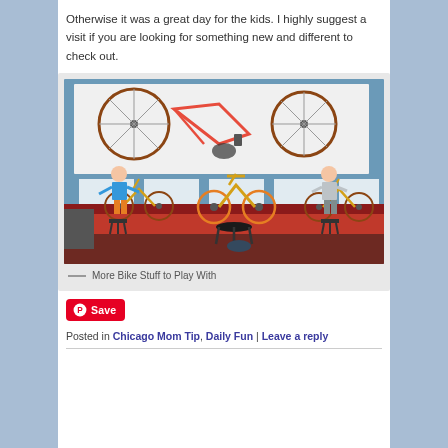Otherwise it was a great day for the kids. I highly suggest a visit if you are looking for something new and different to check out.
[Figure (photo): Two children playing with bicycle parts and balance bikes on a red display counter in a museum exhibit. Bicycle components (wheels, frame) are mounted on a white wall panel. The children sit on stools interacting with the bikes.]
— More Bike Stuff to Play With
Save
Posted in Chicago Mom Tip, Daily Fun | Leave a reply